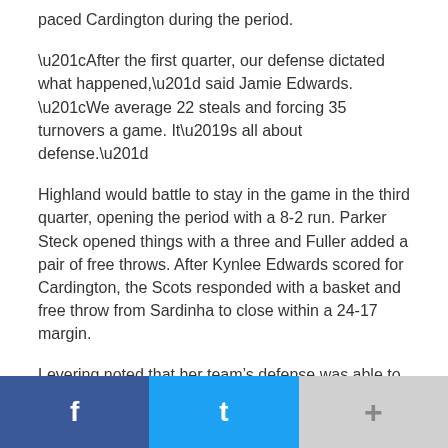paced Cardington during the period.
“After the first quarter, our defense dictated what happened,” said Jamie Edwards. “We average 22 steals and forcing 35 turnovers a game. It’s all about defense.”
Highland would battle to stay in the game in the third quarter, opening the period with a 8-2 run. Parker Steck opened things with a three and Fuller added a pair of free throws. After Kynlee Edwards scored for Cardington, the Scots responded with a basket and free throw from Sardinha to close within a 24-17 margin.
Levering noted that her team’s defense was able to keep them in the game despite Highland’s offensive struggles.
“I’m really proud of the girls’ defense,” she said. “We were able to keep the game close and, even if we weren’t shooting well, we kept them from shooting well.”